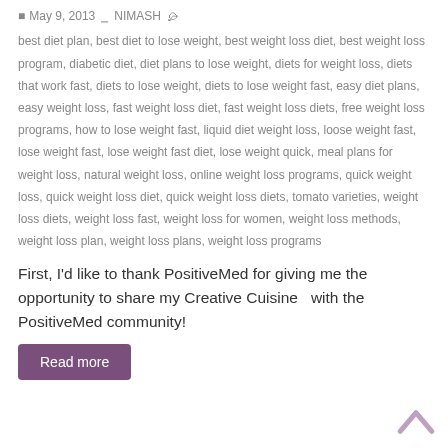May 9, 2013  NIMASH  best diet plan, best diet to lose weight, best weight loss diet, best weight loss program, diabetic diet, diet plans to lose weight, diets for weight loss, diets that work fast, diets to lose weight, diets to lose weight fast, easy diet plans, easy weight loss, fast weight loss diet, fast weight loss diets, free weight loss programs, how to lose weight fast, liquid diet weight loss, loose weight fast, lose weight fast, lose weight fast diet, lose weight quick, meal plans for weight loss, natural weight loss, online weight loss programs, quick weight loss, quick weight loss diet, quick weight loss diets, tomato varieties, weight loss diets, weight loss fast, weight loss for women, weight loss methods, weight loss plan, weight loss plans, weight loss programs
First, I'd like to thank PositiveMed for giving me the opportunity to share my Creative Cuisine  with the PositiveMed community!
Read more